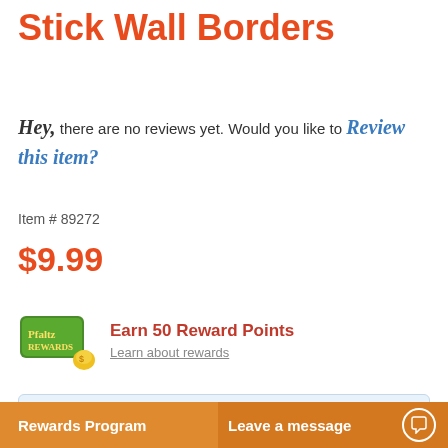How-To Theater Peel-And-Stick Wall Borders
Hey, there are no reviews yet. Would you like to Review this item?
Item # 89272
$9.99
Earn 50 Reward Points
Learn about rewards
Made to Order
* Wall and floor decals require 3 business days to print before shipping.
Rewards Program  Leave a message